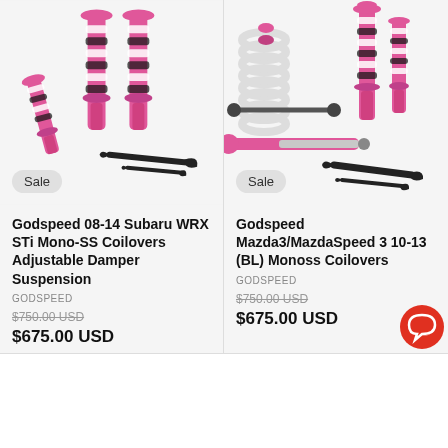[Figure (photo): Godspeed coilover suspension kit — pink/magenta coilovers with black wrench tool, on white background. Sale badge.]
Godspeed 08-14 Subaru WRX STi Mono-SS Coilovers Adjustable Damper Suspension
GODSPEED
$750.00 USD
$675.00 USD
[Figure (photo): Godspeed coilover suspension kit — pink/magenta coilovers, springs, and black wrench tools spread out on white background. Sale badge.]
Godspeed Mazda3/MazdaSpeed 3 10-13 (BL) Monoss Coilovers
GODSPEED
$750.00 USD
$675.00 USD